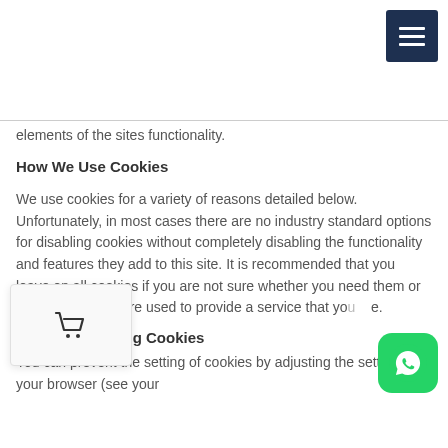[Figure (other): Dark navy hamburger menu button with three white horizontal lines]
elements of the sites functionality.
How We Use Cookies
We use cookies for a variety of reasons detailed below. Unfortunately, in most cases there are no industry standard options for disabling cookies without completely disabling the functionality and features they add to this site. It is recommended that you leave on all cookies if you are not sure whether you need them or not in case, they are used to provide a service that you use.
[Figure (other): Shopping cart icon popup overlay]
Disabling Cookies
You can prevent the setting of cookies by adjusting the settings on your browser (see your
[Figure (other): WhatsApp green circular button with phone icon]